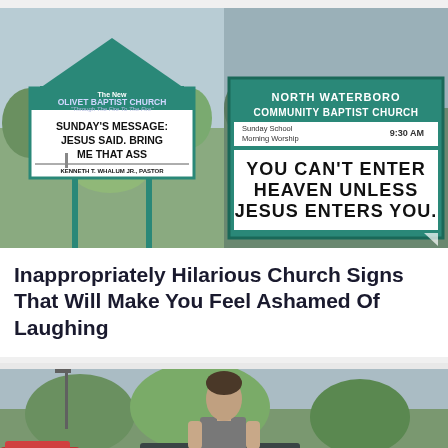[Figure (photo): Two funny church signs side by side. Left: The New Olivet Baptist Church sign reading 'SUNDAY'S MESSAGE: JESUS SAID. BRING ME THAT ASS' by Kenneth T. Whalum Jr., Pastor. Right: North Waterboro Community Baptist Church sign reading 'YOU CAN'T ENTER HEAVEN UNLESS JESUS ENTERS YOU.' with Sunday School / Morning Worship at 9:30 AM.]
Inappropriately Hilarious Church Signs That Will Make You Feel Ashamed Of Laughing
[Figure (photo): A man in a grey t-shirt leaning against a dark car in a parking lot with trees and other cars in the background.]